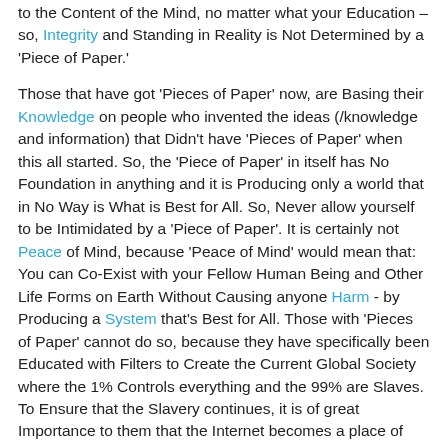to the Content of the Mind, no matter what your Education – so, Integrity and Standing in Reality is Not Determined by a 'Piece of Paper.'
Those that have got 'Pieces of Paper' now, are Basing their Knowledge on people who invented the ideas (/knowledge and information) that Didn't have 'Pieces of Paper' when this all started. So, the 'Piece of Paper' in itself has No Foundation in anything and it is Producing only a world that in No Way is What is Best for All. So, Never allow yourself to be Intimidated by a 'Piece of Paper'. It is certainly not Peace of Mind, because 'Peace of Mind' would mean that: You can Co-Exist with your Fellow Human Being and Other Life Forms on Earth Without Causing anyone Harm - by Producing a System that's Best for All. Those with 'Pieces of Paper' cannot do so, because they have specifically been Educated with Filters to Create the Current Global Society where the 1% Controls everything and the 99% are Slaves. To Ensure that the Slavery continues, it is of great Importance to them that the Internet becomes a place of 'Ugly/ Vile Human Thought,' because as long as the Human Thinks: the Human is Lost and In Complete Control of Whoever...